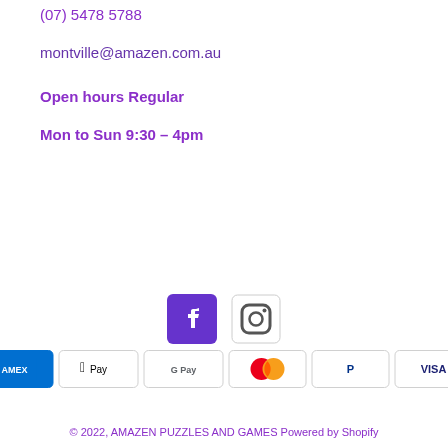(07) 5478 5788
montville@amazen.com.au
Open hours Regular
Mon to Sun 9:30 – 4pm
[Figure (logo): Facebook and Instagram social media icons]
[Figure (other): Payment method badges: American Express, Apple Pay, Google Pay, Mastercard, PayPal, Visa]
© 2022, AMAZEN PUZZLES AND GAMES Powered by Shopify